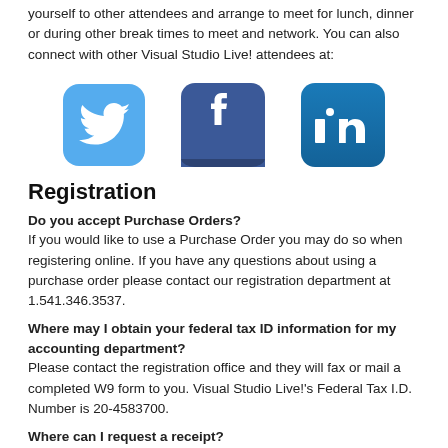yourself to other attendees and arrange to meet for lunch, dinner or during other break times to meet and network. You can also connect with other Visual Studio Live! attendees at:
[Figure (other): Social media icons: Twitter (light blue bird icon), Facebook (dark blue f icon), LinkedIn (blue in icon)]
Registration
Do you accept Purchase Orders?
If you would like to use a Purchase Order you may do so when registering online. If you have any questions about using a purchase order please contact our registration department at 1.541.346.3537.
Where may I obtain your federal tax ID information for my accounting department?
Please contact the registration office and they will fax or mail a completed W9 form to you. Visual Studio Live!'s Federal Tax I.D. Number is 20-4583700.
Where can I request a receipt?
You will receive an official receipt on your badge when you